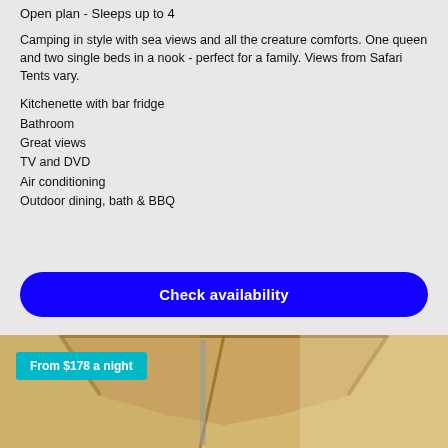Open plan - Sleeps up to 4
Camping in style with sea views and all the creature comforts. One queen and two single beds in a nook - perfect for a family. Views from Safari Tents vary.
Kitchenette with bar fridge
Bathroom
Great views
TV and DVD
Air conditioning
Outdoor dining, bath & BBQ
Check availability
[Figure (photo): Interior photo of a tent or cabin room with wooden beams visible, with a cyan price badge reading 'From $178 a night']
From $178 a night